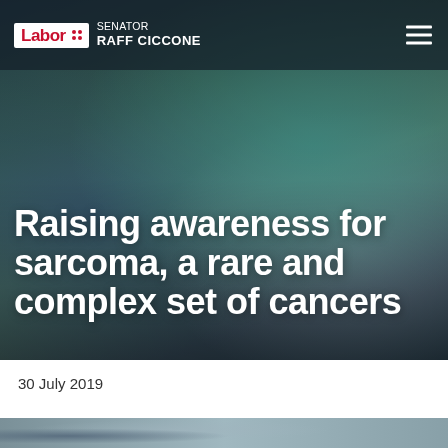Labor | Senator Raff Ciccone
[Figure (photo): Medical/healthcare background photo showing gloved hands with medical tubing, teal surgical fabric, blurred medical context]
Raising awareness for sarcoma, a rare and complex set of cancers
30 July 2019
[Figure (photo): Partial bottom strip showing a person (partially visible)]